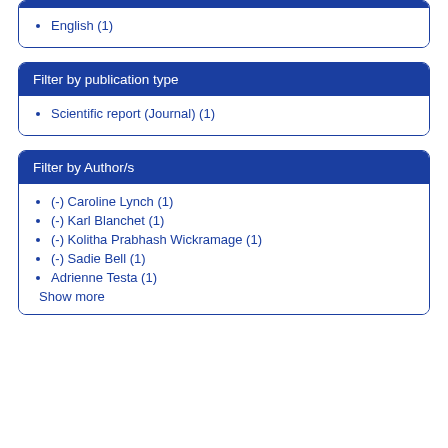English (1)
Filter by publication type
Scientific report (Journal) (1)
Filter by Author/s
(-) Caroline Lynch (1)
(-) Karl Blanchet (1)
(-) Kolitha Prabhash Wickramage (1)
(-) Sadie Bell (1)
Adrienne Testa (1)
Show more